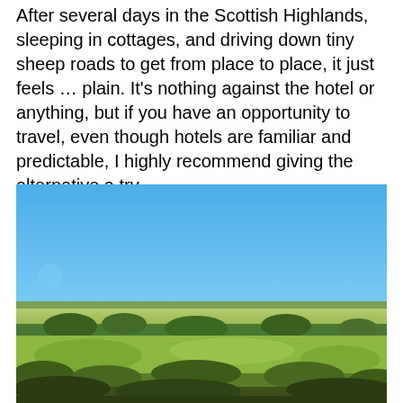After several days in the Scottish Highlands, sleeping in cottages, and driving down tiny sheep roads to get from place to place, it just feels … plain. It's nothing against the hotel or anything, but if you have an opportunity to travel, even though hotels are familiar and predictable, I highly recommend giving the alternative a try.
[Figure (photo): Panoramic landscape photograph of the Scottish Highlands showing rolling green fields, scattered trees and hedgerows under a clear blue sky.]